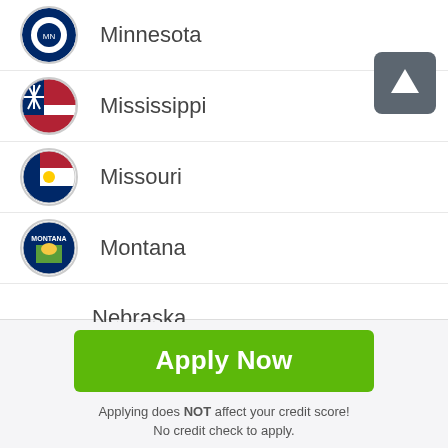Minnesota
Mississippi
Missouri
Montana
Nebraska
Nevada
[Figure (other): Scroll to top button with upward arrow icon]
Apply Now
Applying does NOT affect your credit score! No credit check to apply.